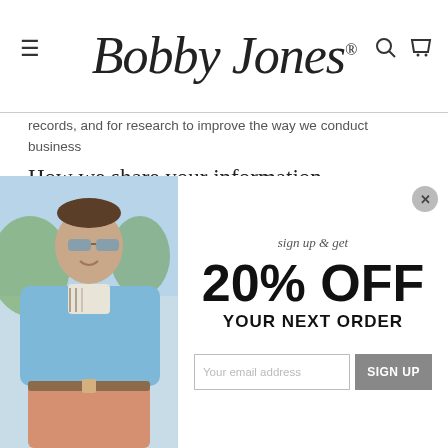Bobby Jones
records, and for research to improve the way we conduct business
How we share your information
[Figure (screenshot): Popup overlay with a man wearing a blue sweater and salmon shorts. Right side shows promotional text: sign up & get 20% OFF YOUR NEXT ORDER, email input field, and SIGN UP button.]